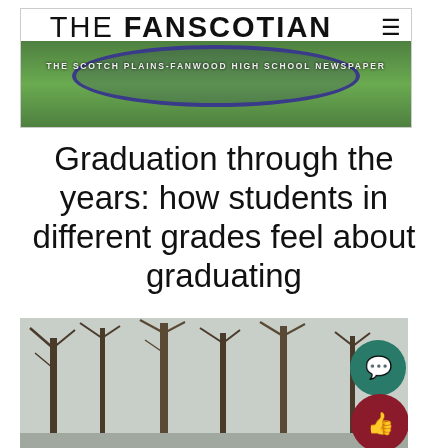THE FANSCOTIAN — The Scotch Plains-Fanwood High School Newspaper
Graduation through the years: how students in different grades feel about graduating
[Figure (photo): Outdoor winter scene with bare trees and overcast sky, graduation-themed photo]